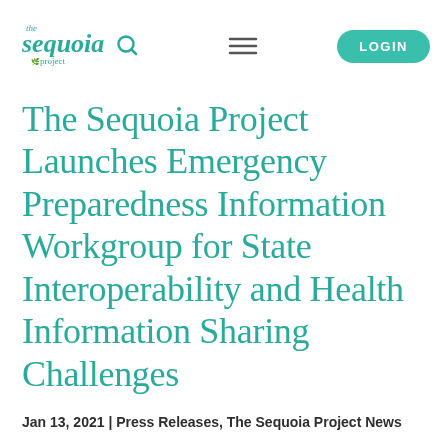the sequoia project [logo] [hamburger menu] LOGIN
The Sequoia Project Launches Emergency Preparedness Information Workgroup for State Interoperability and Health Information Sharing Challenges
Jan 13, 2021 | Press Releases, The Sequoia Project News